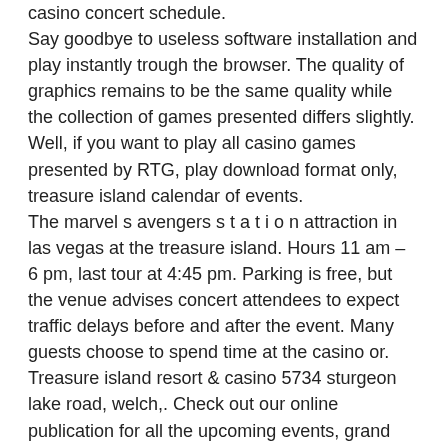casino concert schedule.
Say goodbye to useless software installation and play instantly trough the browser. The quality of graphics remains to be the same quality while the collection of games presented differs slightly. Well, if you want to play all casino games presented by RTG, play download format only, treasure island calendar of events.
The marvel s avengers s t a t i o n attraction in las vegas at the treasure island. Hours 11 am – 6 pm, last tour at 4:45 pm. Parking is free, but the venue advises concert attendees to expect traffic delays before and after the event. Many guests choose to spend time at the casino or. Treasure island resort &amp; casino 5734 sturgeon lake road, welch,. Check out our online publication for all the upcoming events, grand openings, latest reviews and up-to-date entertainment listings, along with money-saving. Treasure island resort &amp;